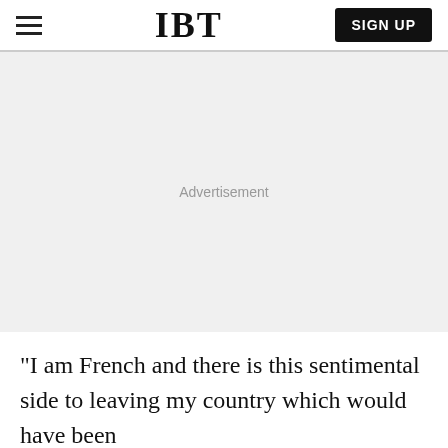IBT
[Figure (other): Advertisement placeholder area with light gray background]
"I am French and there is this sentimental side to leaving my country which would have been